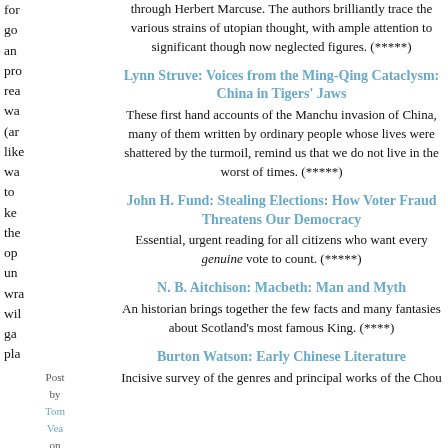for go an pro rea wa (ar like wa to ke the op un wr wil ga pla
through Herbert Marcuse. The authors brilliantly trace the various strains of utopian thought, with ample attention to significant though now neglected figures. (*****)
Lynn Struve: Voices from the Ming-Qing Cataclysm: China in Tigers' Jaws
These first hand accounts of the Manchu invasion of China, many of them written by ordinary people whose lives were shattered by the turmoil, remind us that we do not live in the worst of times. (*****)
John H. Fund: Stealing Elections: How Voter Fraud Threatens Our Democracy
Essential, urgent reading for all citizens who want every genuine vote to count. (*****)
N. B. Aitchison: Macbeth: Man and Myth
An historian brings together the few facts and many fantasies about Scotland's most famous King. (****)
Burton Watson: Early Chinese Literature
Incisive survey of the genres and principal works of the Chou
Post by Tom Vea on Sat Aug 13, 200 at 06:4 PM in Law Wa on Ter | Per